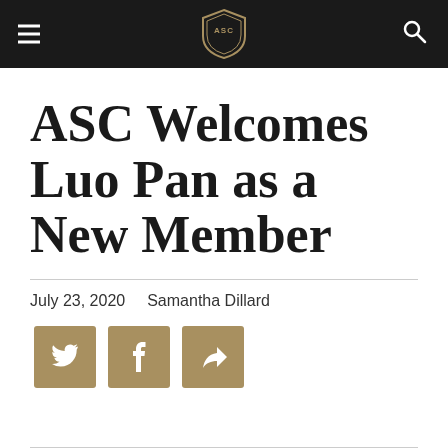ASC navigation bar with logo
ASC Welcomes Luo Pan as a New Member
July 23, 2020   Samantha Dillard
[Figure (other): Social share icons: Twitter, Facebook, and share/forward button, gold/tan colored square buttons]